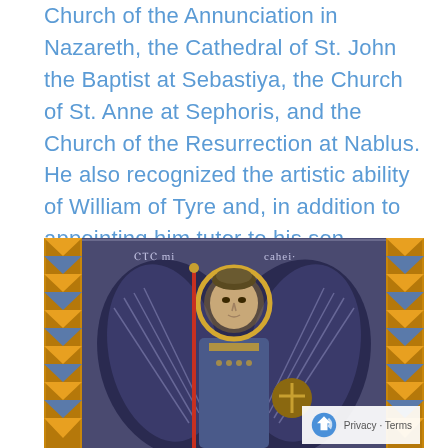Church of the Annunciation in Nazareth, the Cathedral of St. John the Baptist at Sebastiya, the Church of St. Anne at Sephoris, and the Church of the Resurrection at Nablus. He also recognized the artistic ability of William of Tyre and, in addition to appointing him tutor to his son Baldwin, urged him to write his famous Historia. He appointed him Chancellor of Jerusalem in 1174. 56
[Figure (illustration): Byzantine-style mosaic or illuminated manuscript image depicting an angel (likely Archangel Michael/Gabriel) with large dark wings, a halo, holding a staff in one hand and an orb with a cross in the other. The figure is dressed in ornate robes with decorative geometric borders on both sides in orange, blue, and gold. Greek/Latin inscriptions appear at the top of the image.]